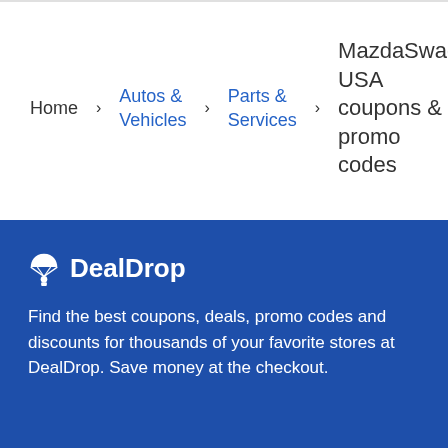Home > Autos & Vehicles > Parts & Services > MazdaSwag USA coupons & promo codes
[Figure (logo): DealDrop logo with parachute icon and bold white text on blue background]
Find the best coupons, deals, promo codes and discounts for thousands of your favorite stores at DealDrop. Save money at the checkout.